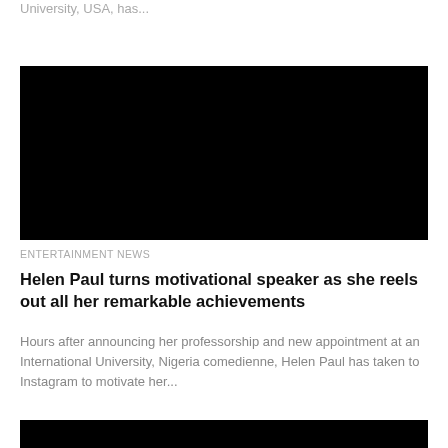University, USA, has...
[Figure (photo): Black image placeholder for an article photo]
ENTERTAINMENT NEWS
Helen Paul turns motivational speaker as she reels out all her remarkable achievements
Hours after announcing her professorship and new appointment at an International University, Nigeria comedienne, Helen Paul has taken to Instagram to motivate her...
[Figure (photo): Black image placeholder for a second article photo]